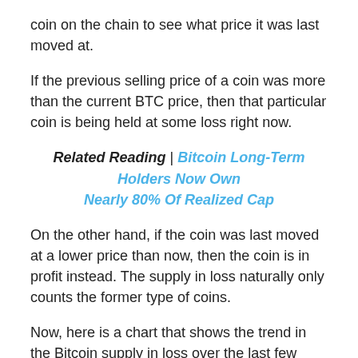coin on the chain to see what price it was last moved at.
If the previous selling price of a coin was more than the current BTC price, then that particular coin is being held at some loss right now.
Related Reading | Bitcoin Long-Term Holders Now Own Nearly 80% Of Realized Cap
On the other hand, if the coin was last moved at a lower price than now, then the coin is in profit instead. The supply in loss naturally only counts the former type of coins.
Now, here is a chart that shows the trend in the Bitcoin supply in loss over the last few years: